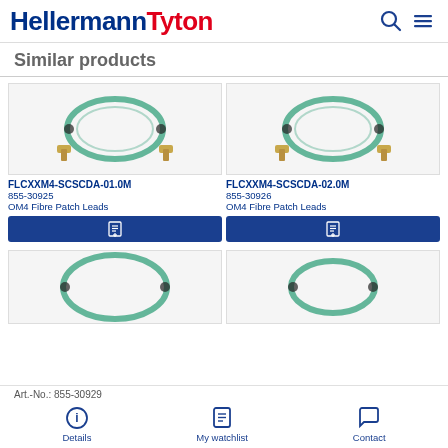HellermannTyton
Similar products
[Figure (photo): Teal/aqua OM4 fibre patch lead cable coiled with SC connectors - product FLCXXM4-SCSCDA-01.0M]
FLCXXM4-SCSCDA-01.0M
855-30925
OM4 Fibre Patch Leads
[Figure (photo): Teal/aqua OM4 fibre patch lead cable coiled with SC connectors - product FLCXXM4-SCSCDA-02.0M]
FLCXXM4-SCSCDA-02.0M
855-30926
OM4 Fibre Patch Leads
[Figure (photo): Teal/aqua OM4 fibre patch lead cable coiled - bottom left product (partial)]
[Figure (photo): Teal/aqua OM4 fibre patch lead cable coiled - bottom right product (partial)]
Art.-No.: 855-30929
Details   My watchlist   Contact